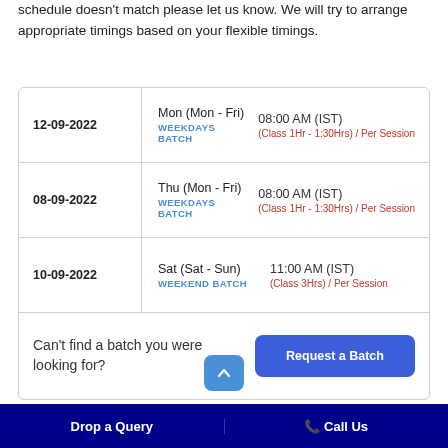schedule doesn't match please let us know. We will try to arrange appropriate timings based on your flexible timings.
| Date | Batch | Time |
| --- | --- | --- |
| 12-09-2022 | Mon (Mon - Fri)
WEEKDAYS BATCH | 08:00 AM (IST)
(Class 1Hr - 1:30Hrs) / Per Session |
| 08-09-2022 | Thu (Mon - Fri)
WEEKDAYS BATCH | 08:00 AM (IST)
(Class 1Hr - 1:30Hrs) / Per Session |
| 10-09-2022 | Sat (Sat - Sun)
WEEKEND BATCH | 11:00 AM (IST)
(Class 3Hrs) / Per Session |
Can't find a batch you were looking for?
Drop a Query   📞 Call Us